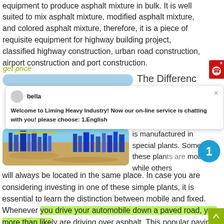equipment to produce asphalt mixture in bulk. It is well suited to mix asphalt mixture, modified asphalt mixture, and colored asphalt mixture, therefore, it is a piece of requisite equipment for highway building project, classified highway construction, urban road construction, airport construction and port construction.
get price
[Figure (screenshot): Blue rounded banner element and partial heading 'The Differenc' visible to the right]
[Figure (screenshot): Chat popup overlay with avatar circle, name 'bella', close button (×), and message: Welcome to Liming Heavy Industry! Now our on-line service is chatting with you! please choose: 1.English]
[Figure (photo): Industrial asphalt plant site photograph showing blue metal structures and sandy/gravel ground]
is manufactured in special plants. Some of these plants are mobile while others will always be located in the same place. In case you are considering investing in one of these simple plants, it is essential to learn the distinction between mobile and fixed. Whenever you drive your automobile down a paved road, you more than likely are driving over asphalt. This popular paving